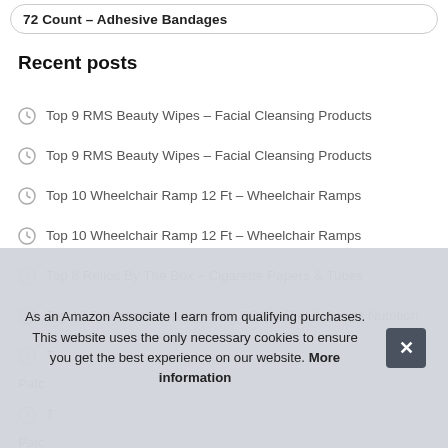72 Count – Adhesive Bandages
Recent posts
Top 9 RMS Beauty Wipes – Facial Cleansing Products
Top 9 RMS Beauty Wipes – Facial Cleansing Products
Top 10 Wheelchair Ramp 12 Ft – Wheelchair Ramps
Top 10 Wheelchair Ramp 12 Ft – Wheelchair Ramps
Top 8 Rellos By The Box – Cigarette Papers & Tubes
Top 10 Relentless Improvement PQQ – Diet & Sports Nutrition
T... Patch
T... Patch
As an Amazon Associate I earn from qualifying purchases. This website uses the only necessary cookies to ensure you get the best experience on our website. More information